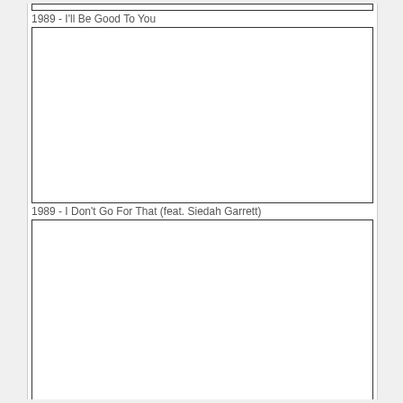1989 - I'll Be Good To You
[Figure (other): Empty white image box with black border]
1989 - I Don't Go For That (feat. Siedah Garrett)
[Figure (other): Empty white image box with black border, partially visible]